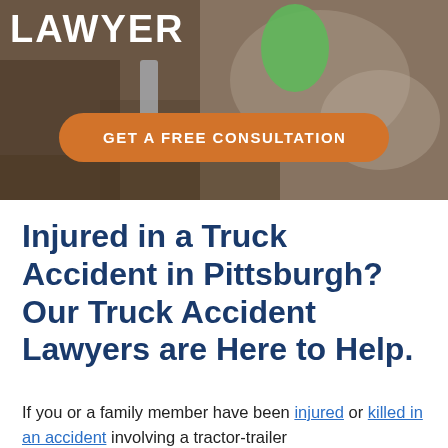[Figure (photo): Hero banner image of a law office/lawyer consultation scene with people at a desk with books and papers. 'LAWYER' text overlay in white bold letters at top left. Orange rounded button with 'GET A FREE CONSULTATION' text.]
Injured in a Truck Accident in Pittsburgh? Our Truck Accident Lawyers are Here to Help.
If you or a family member have been injured or killed in an accident involving a tractor-trailer